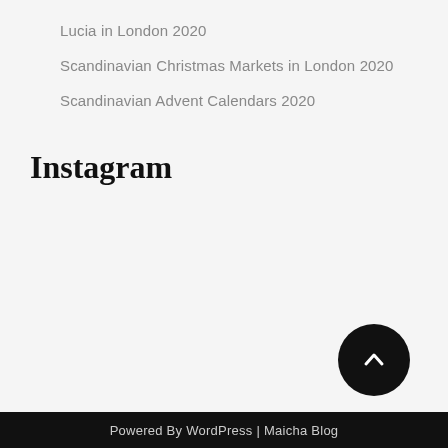Lucia in London 2020
Scandinavian Christmas Markets in London 2020
Scandinavian Advent Calendars 2020
Instagram
Powered By WordPress | Maicha Blog